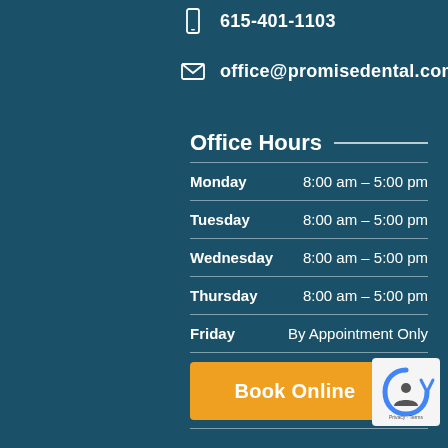615-401-1103
office@promisedental.com
Office Hours
| Day | Hours |
| --- | --- |
| Monday | 8:00 am – 5:00 pm |
| Tuesday | 8:00 am – 5:00 pm |
| Wednesday | 8:00 am – 5:00 pm |
| Thursday | 8:00 am – 5:00 pm |
| Friday | By Appointment Only |
| Saturday | Closed |
| Sunday | Closed |
Book Online
[Figure (logo): reCAPTCHA badge with privacy and terms links]